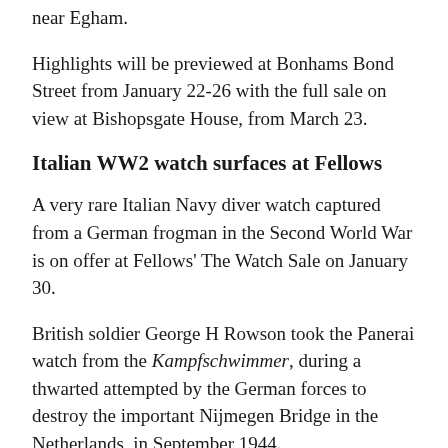near Egham.
Highlights will be previewed at Bonhams Bond Street from January 22-26 with the full sale on view at Bishopsgate House, from March 23.
Italian WW2 watch surfaces at Fellows
A very rare Italian Navy diver watch captured from a German frogman in the Second World War is on offer at Fellows' The Watch Sale on January 30.
British soldier George H Rowson took the Panerai watch from the Kampfschwimmer, during a thwarted attempted by the German forces to destroy the important Nijmegen Bridge in the Netherlands, in September 1944.
The watch has a hand-carved inscription on the reverse detailing the British soldier's name, rank and the year the piece was acquired.